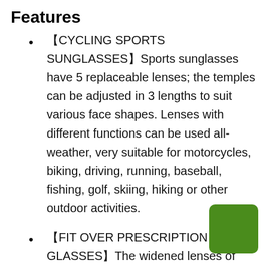Features
🔲CYCLING SPORTS SUNGLASSES🔲Sports sunglasses have 5 replaceable lenses; the temples can be adjusted in 3 lengths to suit various face shapes. Lenses with different functions can be used all-weather, very suitable for motorcycles, biking, driving, running, baseball, fishing, golf, skiing, hiking or other outdoor activities.
🔲FIT OVER PRESCRIPTION GLASSES🔲The widened lenses of polarized sunglasses fit the eyes perfectly. The lenses have a rigorous aerodynamic shape, its ventilation holes on the top greatly reduce wind resistance and prevent fogging. The frame of cycling sunglasses can fit cover prescription glasses. Soft silicone nose pad is comfortable and non-slip, not easy to cause fatigue. Please note: only black